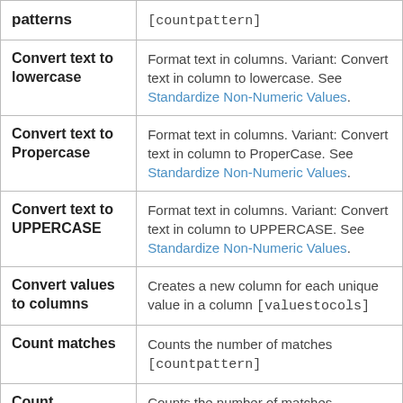| Feature | Description |
| --- | --- |
| patterns | [countpattern] |
| Convert text to lowercase | Format text in columns. Variant: Convert text in column to lowercase. See Standardize Non-Numeric Values. |
| Convert text to Propercase | Format text in columns. Variant: Convert text in column to ProperCase. See Standardize Non-Numeric Values. |
| Convert text to UPPERCASE | Format text in columns. Variant: Convert text in column to UPPERCASE. See Standardize Non-Numeric Values. |
| Convert values to columns | Creates a new column for each unique value in a column [valuestocols] |
| Count matches | Counts the number of matches [countpattern] |
| Count | Counts the number of matches |